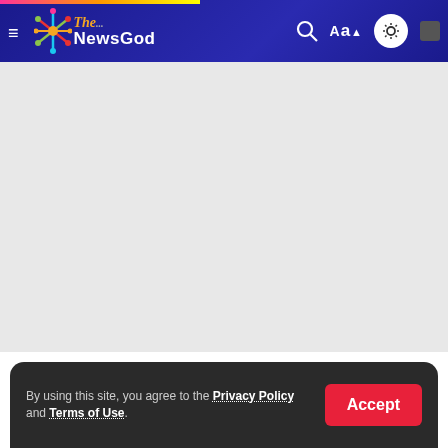The NewsGod
[Figure (other): Advertisement placeholder gray area]
Looking for a new dentist? Click here to schedule a dental checkup.
By using this site, you agree to the Privacy Policy and Terms of Use.
Teeth and Gums